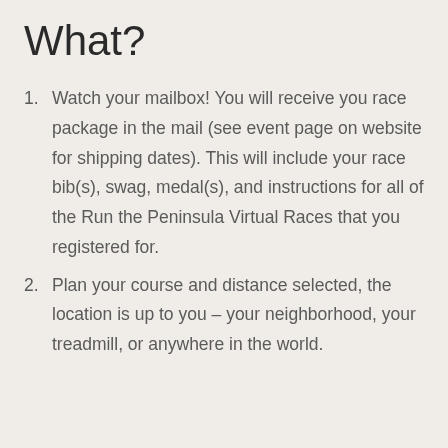What?
Watch your mailbox! You will receive you race package in the mail (see event page on website for shipping dates). This will include your race bib(s), swag, medal(s), and instructions for all of the Run the Peninsula Virtual Races that you registered for.
Plan your course and distance selected, the location is up to you – your neighborhood, your treadmill, or anywhere in the world.